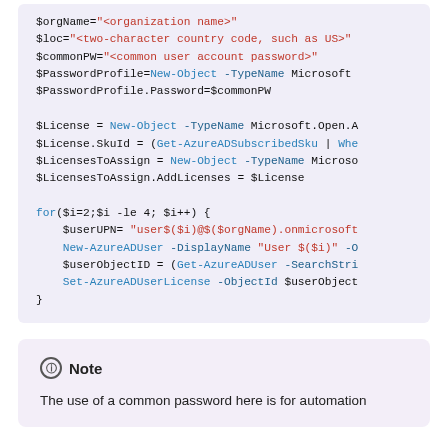[Figure (screenshot): PowerShell code block with syntax highlighting on a light purple background. Shows variable assignments for $orgName, $loc, $commonPW, $PasswordProfile, $License, $LicensesToAssign, and a for loop with New-AzureADUser, Get-AzureADUser, and Set-AzureADUserLicense commands.]
Note
The use of a common password here is for automation